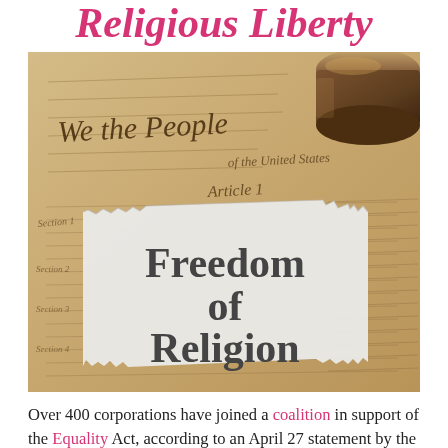Religious Liberty
[Figure (photo): Photo showing a torn paper clipping reading 'Freedom of Religion' laid over an aged copy of the US Constitution ('We the People', Article 1), with a wooden judge's gavel in the upper right corner.]
Over 400 corporations have joined a coalition in support of the Equality Act, according to an April 27 statement by the Human Rights Campaign, one of the most influence LGBT advocacy groups in the country.